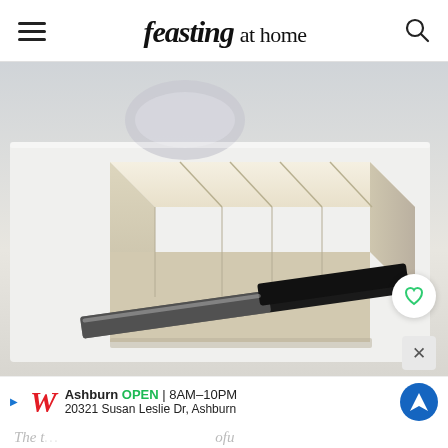feasting at home
[Figure (photo): Block of sliced firm tofu on a white cutting board with a knife, a bowl and red container in the background]
Ashburn OPEN 8AM–10PM 20321 Susan Leslie Dr, Ashburn
The t... ofu